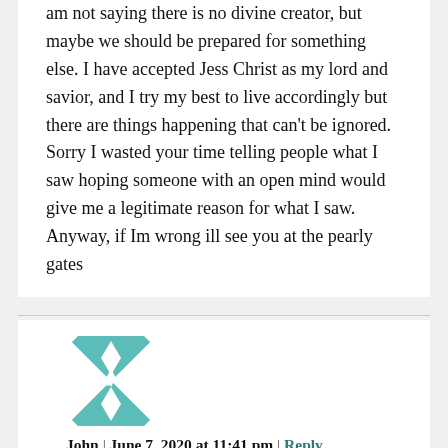am not saying there is no divine creator, but maybe we should be prepared for something else. I have accepted Jess Christ as my lord and savior, and I try my best to live accordingly but there are things happening that can't be ignored. Sorry I wasted your time telling people what I saw hoping someone with an open mind would give me a legitimate reason for what I saw. Anyway, if Im wrong ill see you at the pearly gates
[Figure (illustration): Teal and white geometric quilt-pattern avatar icon for user John]
John | June 7, 2020 at 11:41 pm | Reply